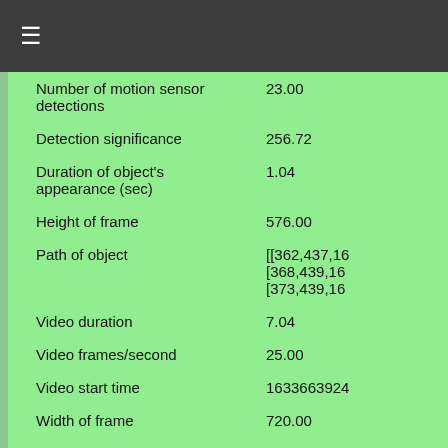≡
| Property | Value |
| --- | --- |
| Number of motion sensor detections | 23.00 |
| Detection significance | 256.72 |
| Duration of object's appearance (sec) | 1.04 |
| Height of frame | 576.00 |
| Path of object | [[362,437,16
[368,439,16
[373,439,16 |
| Video duration | 7.04 |
| Video frames/second | 25.00 |
| Video start time | 1633663924 |
| Width of frame | 720.00 |
| Identification: Object type | Plane |
| Frame drop incidents | [] |